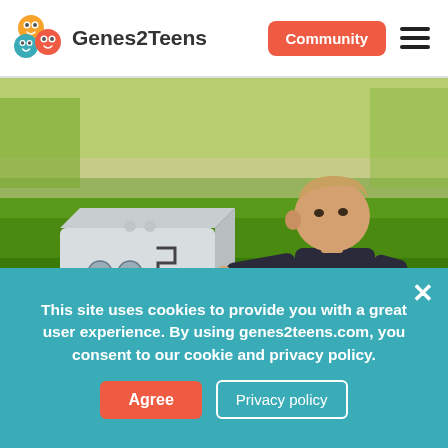Genes2Teens
[Figure (photo): Young boy crouching on grass in a park, playing with a wooden activity/busy cube with various mechanical puzzles on its faces. Background shows a sunny green park.]
This site uses cookies to provide you with a great user experience. By using genes2teens.com, you consent to our cookie and privacy policy.
Agree
Privacy policy